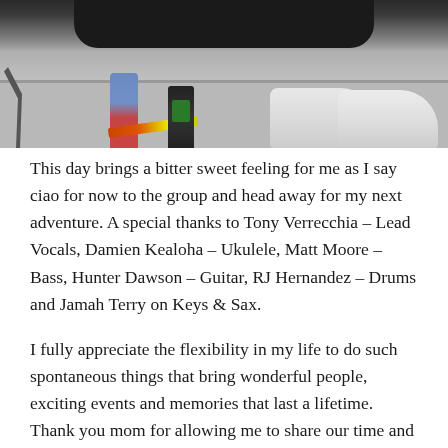[Figure (photo): Photo of items on a shelf/desk: a lamp on the left, a juice bottle (Naked brand), a screwdriver, a Monster energy drink can, and a pair of white sneakers on the right. Dark decorative graphic on the wall above.]
This day brings a bitter sweet feeling for me as I say ciao for now to the group and head away for my next adventure. A special thanks to Tony Verrecchia – Lead Vocals, Damien Kealoha – Ukulele, Matt Moore – Bass, Hunter Dawson – Guitar, RJ Hernandez – Drums and Jamah Terry on Keys & Sax.
I fully appreciate the flexibility in my life to do such spontaneous things that bring wonderful people, exciting events and memories that last a lifetime. Thank you mom for allowing me to share our time and experience new